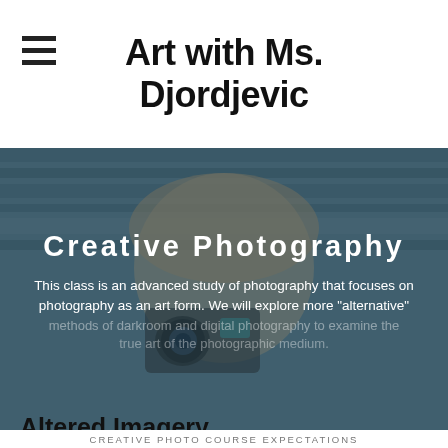Art with Ms. Djordjevic
[Figure (photo): Young woman holding a vintage camera up to her face, with horizontal stripe pattern background in blue-grey tones. Overlaid with text about Creative Photography class.]
CREATIVE PHOTO COURSE EXPECTATIONS
Altered Imagery